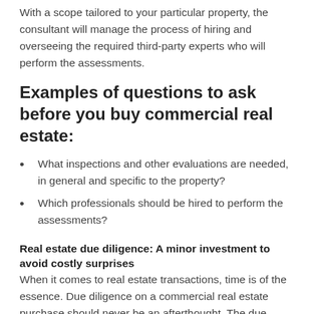With a scope tailored to your particular property, the consultant will manage the process of hiring and overseeing the required third-party experts who will perform the assessments.
Examples of questions to ask before you buy commercial real estate:
What inspections and other evaluations are needed, in general and specific to the property?
Which professionals should be hired to perform the assessments?
Real estate due diligence: A minor investment to avoid costly surprises
When it comes to real estate transactions, time is of the essence. Due diligence on a commercial real estate purchase should never be an afterthought. The due diligence process can be time consuming, and any delay could postpone your financing commitment,